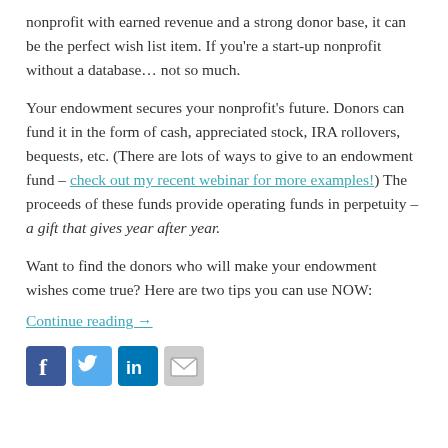nonprofit with earned revenue and a strong donor base, it can be the perfect wish list item. If you're a start-up nonprofit without a database… not so much.
Your endowment secures your nonprofit's future. Donors can fund it in the form of cash, appreciated stock, IRA rollovers, bequests, etc. (There are lots of ways to give to an endowment fund – check out my recent webinar for more examples!) The proceeds of these funds provide operating funds in perpetuity – a gift that gives year after year.
Want to find the donors who will make your endowment wishes come true? Here are two tips you can use NOW:
Continue reading →
[Figure (other): Social media share icons: Facebook (blue), Twitter (light blue), LinkedIn (dark blue), Email (grey)]